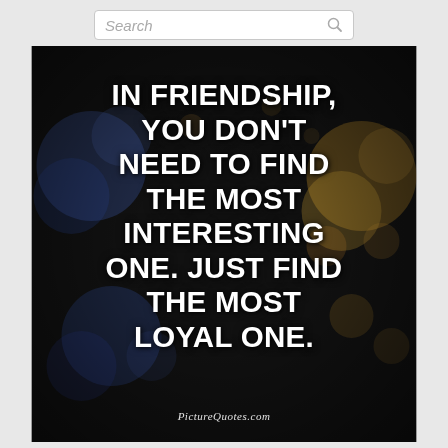Search
[Figure (photo): Dark bokeh background with colorful blurred lights (blue, gold, orange) and large bold white uppercase text quote about friendship and loyalty. Watermark: PictureQuotes.com]
IN FRIENDSHIP, YOU DON'T NEED TO FIND THE MOST INTERESTING ONE. JUST FIND THE MOST LOYAL ONE.
PictureQuotes.com